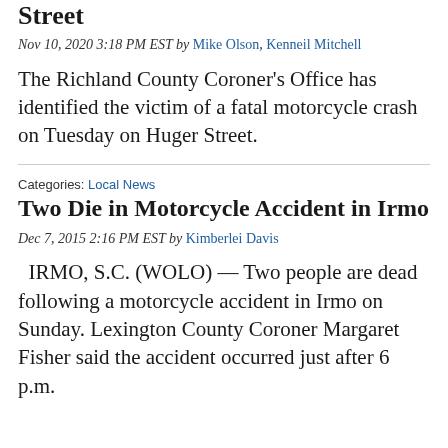Street
Nov 10, 2020 3:18 PM EST by Mike Olson, Kenneil Mitchell
The Richland County Coroner's Office has identified the victim of a fatal motorcycle crash on Tuesday on Huger Street.
Categories: Local News
Two Die in Motorcycle Accident in Irmo
Dec 7, 2015 2:16 PM EST by Kimberlei Davis
IRMO, S.C. (WOLO) — Two people are dead following a motorcycle accident in Irmo on Sunday. Lexington County Coroner Margaret Fisher said the accident occurred just after 6 p.m.